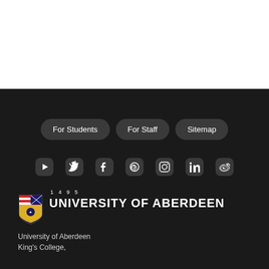For Students
For Staff
Sitemap
[Figure (logo): Social media icons: YouTube, Twitter, Facebook, Pinterest, Instagram, LinkedIn, Weibo]
[Figure (logo): University of Aberdeen crest shield logo with year 1495]
UNIVERSITY OF ABERDEEN
University of Aberdeen
King's College,